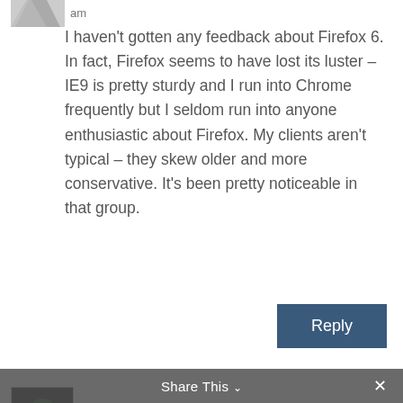am
I haven't gotten any feedback about Firefox 6. In fact, Firefox seems to have lost its luster – IE9 is pretty sturdy and I run into Chrome frequently but I seldom run into anyone enthusiastic about Firefox. My clients aren't typical – they skew older and more conservative. It's been pretty noticeable in that group.
Reply
Boyan on July 2, 2011 at 4:15 pm
I figured that some time ago: I have a friend who is a Microsoft lover and almost religiously evades an answer is the answer is
Share This ×